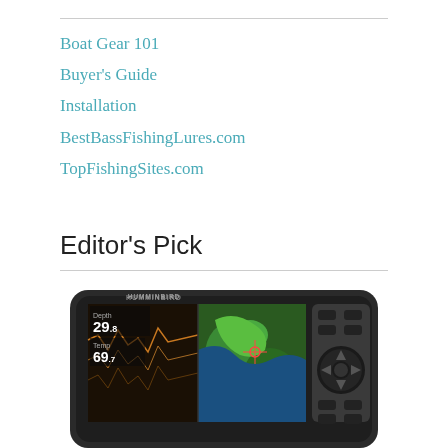Boat Gear 101
Buyer's Guide
Installation
BestBassFishingLures.com
TopFishingSites.com
Editor's Pick
[Figure (photo): A Humminbird fish finder / GPS device with a color display showing sonar on the left (depth 29.8, temp 69.7) and a GPS map on the right, with physical button controls on the right side of the unit.]